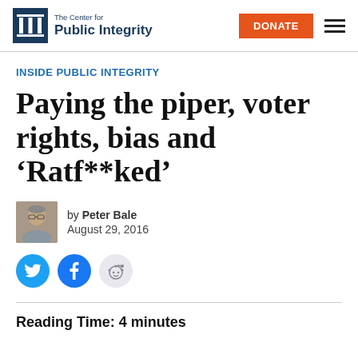The Center for Public Integrity
INSIDE PUBLIC INTEGRITY
Paying the piper, voter rights, bias and 'Ratf**ked'
by Peter Bale
August 29, 2016
[Figure (illustration): Author photo of Peter Bale, a middle-aged man with glasses]
Reading Time: 4 minutes